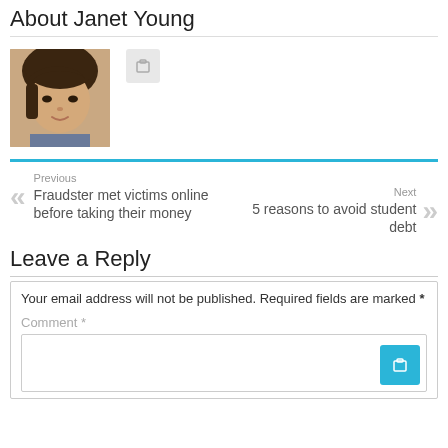About Janet Young
[Figure (photo): Profile photo of Janet Young, a woman with short dark hair, and a small icon button next to it]
Previous
Fraudster met victims online before taking their money
Next
5 reasons to avoid student debt
Leave a Reply
Your email address will not be published. Required fields are marked *
Comment *